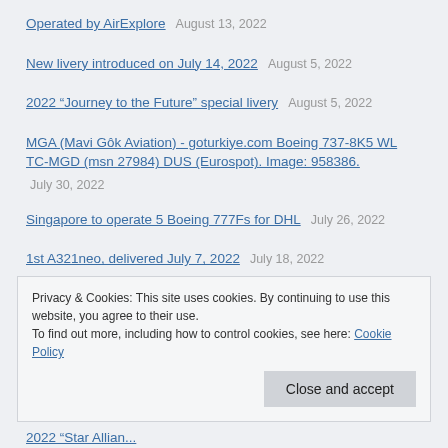Operated by AirExplore  August 13, 2022
New livery introduced on July 14, 2022  August 5, 2022
2022 "Journey to the Future" special livery  August 5, 2022
MGA (Mavi Gôk Aviation) - goturkiye.com Boeing 737-8K5 WL TC-MGD (msn 27984) DUS (Eurospot). Image: 958386.  July 30, 2022
Singapore to operate 5 Boeing 777Fs for DHL  July 26, 2022
1st A321neo, delivered July 7, 2022  July 18, 2022
Ex AM N961AM, "No War", to transport FC Bayern München on their US tour 2022  July 18, 2022
Privacy & Cookies: This site uses cookies. By continuing to use this website, you agree to their use.
To find out more, including how to control cookies, see here: Cookie Policy
Close and accept
2022 "Star Alliance" special livery  August 5, 2022